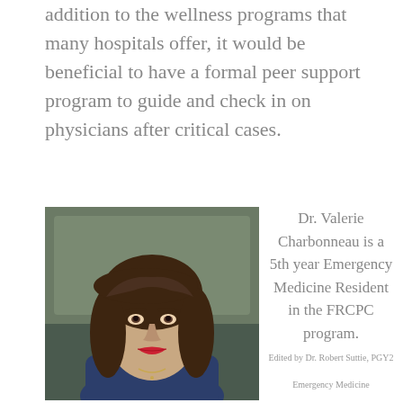addition to the wellness programs that many hospitals offer, it would be beneficial to have a formal peer support program to guide and check in on physicians after critical cases.
[Figure (photo): Portrait photo of Dr. Valerie Charbonneau, a woman with dark brown shoulder-length hair and red lipstick, wearing a dark navy sleeveless top and a necklace, seated indoors.]
Dr. Valerie Charbonneau is a 5th year Emergency Medicine Resident in the FRCPC program.
Edited by Dr. Robert Suttie, PGY2
Emergency Medicine